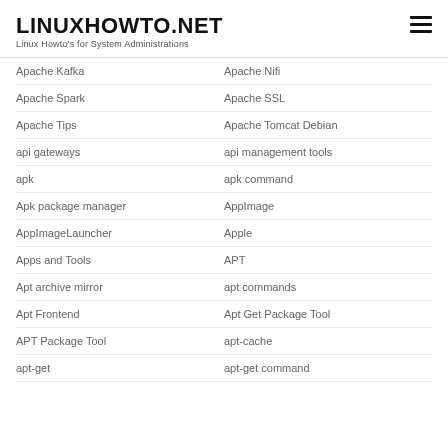LINUXHOWTO.NET
Linux Howto's for System Administrations
Apache Kafka
Apache Nifi
Apache Spark
Apache SSL
Apache Tips
Apache Tomcat Debian
api gateways
api management tools
apk
apk command
Apk package manager
AppImage
AppImageLauncher
Apple
Apps and Tools
APT
Apt archive mirror
apt commands
Apt Frontend
Apt Get Package Tool
APT Package Tool
apt-cache
apt-get
apt-get command